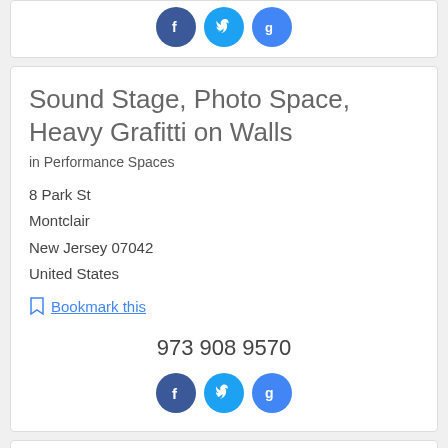[Figure (other): Three circular social media icons (Facebook, Twitter, Google+) partially visible at top of page]
Sound Stage, Photo Space, Heavy Grafitti on Walls
in Performance Spaces
8 Park St
Montclair
New Jersey 07042
United States
Bookmark this
973 908 9570
[Figure (other): Three circular social media icons: Facebook (blue), Twitter (blue), Google+ (blue)]
TR Burns Films
in Video Demo Reels